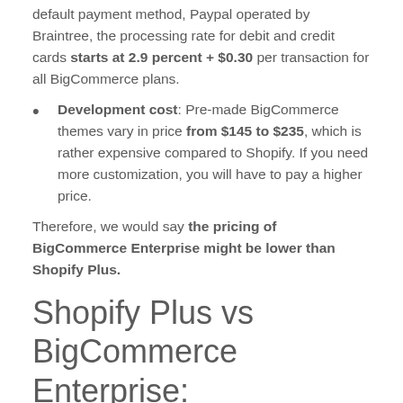default payment method, Paypal operated by Braintree, the processing rate for debit and credit cards starts at 2.9 percent + $0.30 per transaction for all BigCommerce plans.
Development cost: Pre-made BigCommerce themes vary in price from $145 to $235, which is rather expensive compared to Shopify. If you need more customization, you will have to pay a higher price.
Therefore, we would say the pricing of BigCommerce Enterprise might be lower than Shopify Plus.
Shopify Plus vs BigCommerce Enterprise: